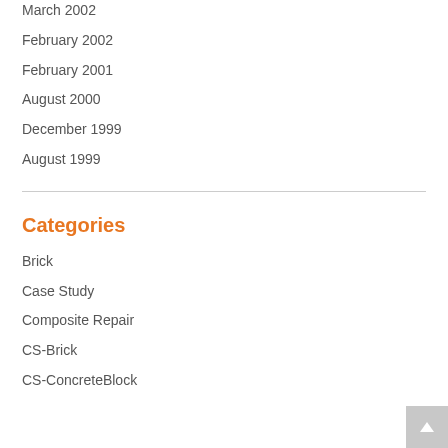March 2002
February 2002
February 2001
August 2000
December 1999
August 1999
Categories
Brick
Case Study
Composite Repair
CS-Brick
CS-ConcreteBlock